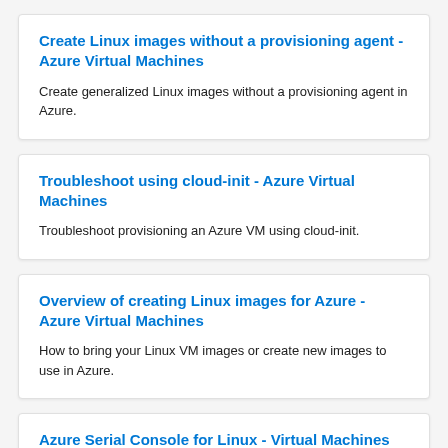Create Linux images without a provisioning agent - Azure Virtual Machines
Create generalized Linux images without a provisioning agent in Azure.
Troubleshoot using cloud-init - Azure Virtual Machines
Troubleshoot provisioning an Azure VM using cloud-init.
Overview of creating Linux images for Azure - Azure Virtual Machines
How to bring your Linux VM images or create new images to use in Azure.
Azure Serial Console for Linux - Virtual Machines